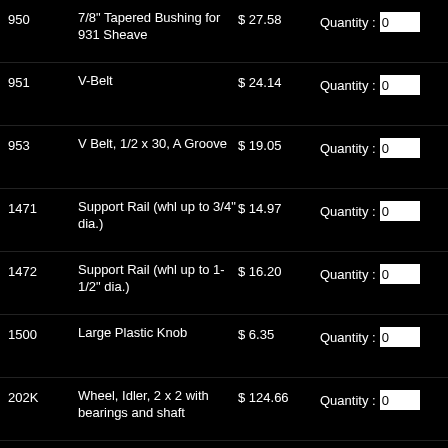| ID | Description | Price | Quantity |
| --- | --- | --- | --- |
| 950 | 7/8" Tapered Bushing for 931 Sheave | $ 27.58 | 0 |
| 951 | V-Belt | $ 24.14 | 0 |
| 953 | V Belt, 1/2 x 30, A Groove | $ 19.05 | 0 |
| 1471 | Support Rail (whl up to 3/4" dia.) | $ 14.97 | 0 |
| 1472 | Support Rail (whl up to 1-1/2" dia.) | $ 16.20 | 0 |
| 1500 | Large Plastic Knob | $ 6.35 | 0 |
| 202K | Wheel, Idler, 2 x 2 with bearings and shaft | $ 124.66 | 0 |
| 302K | Idler Wheel 3" x 2" w/Bearings | $ 117.47 | 0 |
| 404A | Backup Platen - 482 - Prior to 5/2021 | $ 16.79 | 0 |